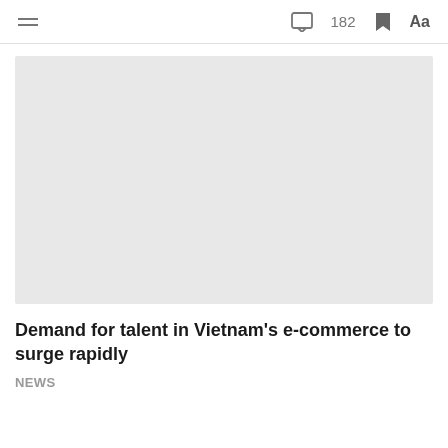≡  ☐  182  🔖  Aa
[Figure (photo): Large light gray image placeholder rectangle]
Demand for talent in Vietnam's e-commerce to surge rapidly
NEWS